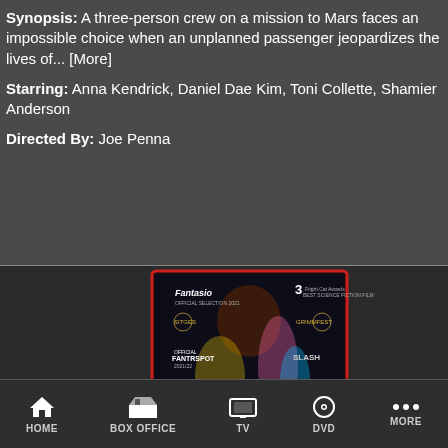Synopsis: A three-person crew on a mission to Mars faces an impossible choice when an unplanned passenger jeopardizes the lives of... [More]
Starring: Anna Kendrick, Daniel Dae Kim, Toni Collette, Shamier Anderson
Directed By: Joe Penna
[Figure (photo): Movie poster with person surrounded by colorful neon lights, featuring festival award laurels including Fantasio, Grimmfest, Sitges, and others.]
HOME  BOX OFFICE  TV  DVD  MORE